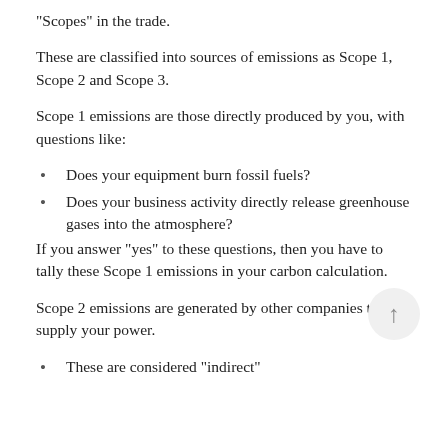“Scopes” in the trade.
These are classified into sources of emissions as Scope 1, Scope 2 and Scope 3.
Scope 1 emissions are those directly produced by you, with questions like:
Does your equipment burn fossil fuels?
Does your business activity directly release greenhouse gases into the atmosphere?
If you answer “yes” to these questions, then you have to tally these Scope 1 emissions in your carbon calculation.
Scope 2 emissions are generated by other companies that supply your power.
These are considered “indirect”